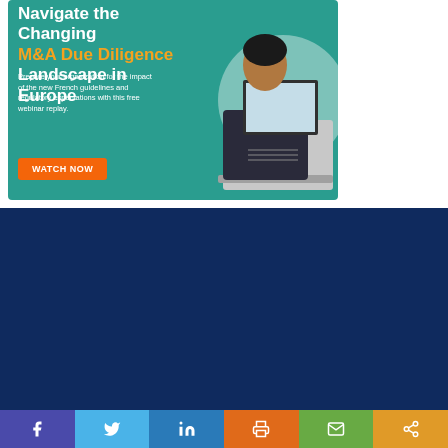[Figure (infographic): Advertisement banner for 'Navigate the Changing M&A Due Diligence Landscape in Europe' webinar replay, with teal background, orange and white text, a WATCH NOW button, and a photo of a person typing on a laptop.]
×
[Figure (illustration): Small newsletter thumbnail/preview image showing CCI newsletter layout with colorful content blocks.]
Want more?
Get CCI's weekly round-up in your inbox. Unsubscribe anytime.
Let's do this!
[Figure (infographic): Social sharing bar with Facebook, Twitter, LinkedIn, Print, Email, and Share buttons in colored blocks.]